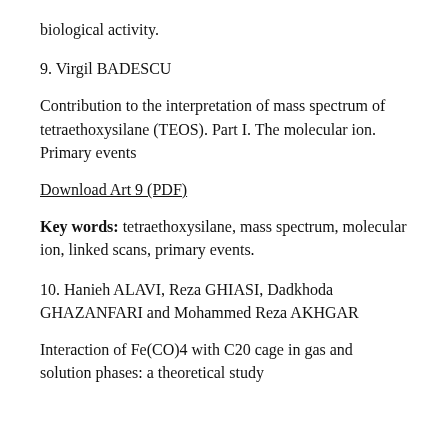biological activity.
9. Virgil BADESCU
Contribution to the interpretation of mass spectrum of tetraethoxysilane (TEOS). Part I. The molecular ion. Primary events
Download Art 9 (PDF)
Key words: tetraethoxysilane, mass spectrum, molecular ion, linked scans, primary events.
10. Hanieh ALAVI, Reza GHIASI, Dadkhoda GHAZANFARI and Mohammed Reza AKHGAR
Interaction of Fe(CO)4 with C20 cage in gas and solution phases: a theoretical study